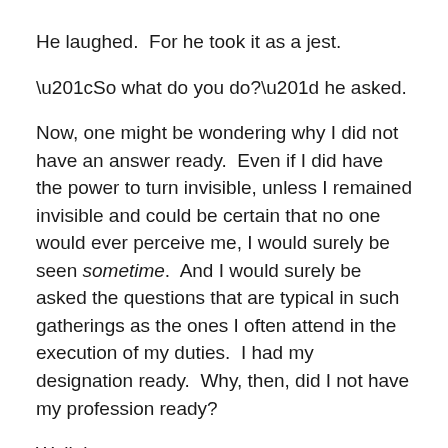He laughed.  For he took it as a jest.
“So what do you do?” he asked.
Now, one might be wondering why I did not have an answer ready.  Even if I did have the power to turn invisible, unless I remained invisible and could be certain that no one would ever perceive me, I would surely be seen sometime.  And I would surely be asked the questions that are typical in such gatherings as the ones I often attend in the execution of my duties.  I had my designation ready.  Why, then, did I not have my profession ready?
Well, let me see…
How does one explain what they do, if what they do spans the cosmos?